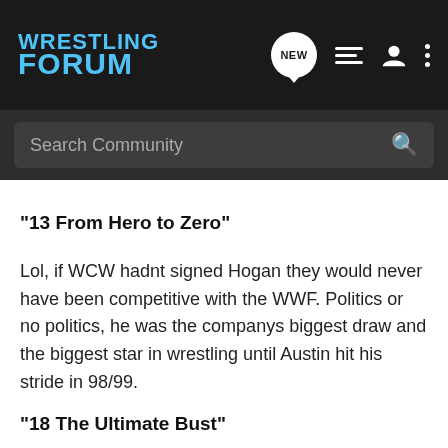WRESTLING FORUM
"13 From Hero to Zero"
Lol, if WCW hadnt signed Hogan they would never have been competitive with the WWF. Politics or no politics, he was the companys biggest draw and the biggest star in wrestling until Austin hit his stride in 98/99.
"18 The Ultimate Bust"
The Warrior/Hogan face to face on Nitro was one of the highest rated segments in MNW history. That Nitro got the highest ratings for 4 months, and beat Raw. The following weeks Nitro was the highest rated ever up to that point and beat Raw once